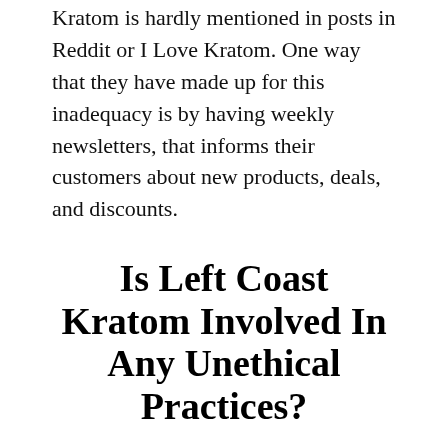Kratom is hardly mentioned in posts in Reddit or I Love Kratom. One way that they have made up for this inadequacy is by having weekly newsletters, that informs their customers about new products, deals, and discounts.
Is Left Coast Kratom Involved In Any Unethical Practices?
When considering this, one may ask, does Left Coast Kratom makes any medical claim whatsoever? A quick sweep of the website would give one the answer, no.